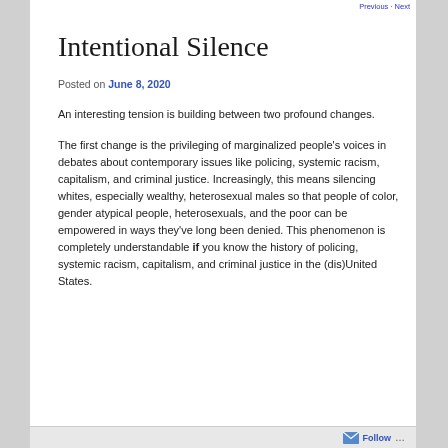Previous · Next
Intentional Silence
Posted on June 8, 2020
An interesting tension is building between two profound changes.
The first change is the privileging of marginalized people's voices in debates about contemporary issues like policing, systemic racism, capitalism, and criminal justice. Increasingly, this means silencing whites, especially wealthy, heterosexual males so that people of color, gender atypical people, heterosexuals, and the poor can be empowered in ways they've long been denied. This phenomenon is completely understandable if you know the history of policing, systemic racism, capitalism, and criminal justice in the (dis)United States.
Follow ...